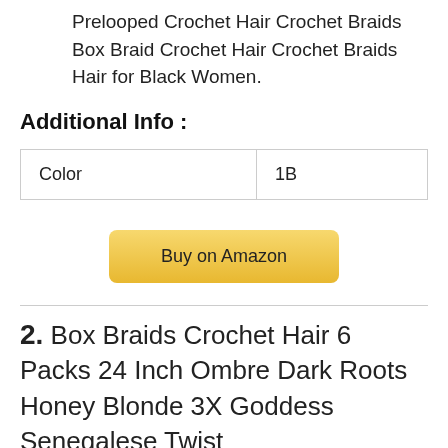Prelooped Crochet Hair Crochet Braids Box Braid Crochet Hair Crochet Braids Hair for Black Women.
Additional Info :
| Color | 1B |
Buy on Amazon
2. Box Braids Crochet Hair 6 Packs 24 Inch Ombre Dark Roots Honey Blonde 3X Goddess Senegalese Twist